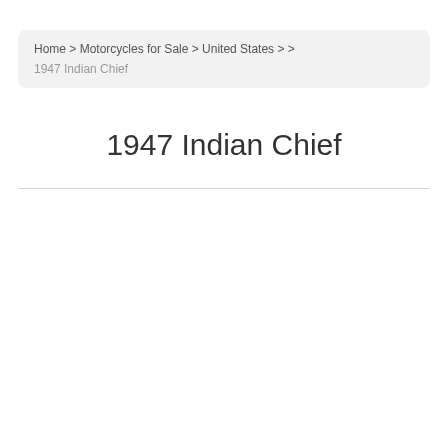Home > Motorcycles for Sale > United States > > 1947 Indian Chief
1947 Indian Chief